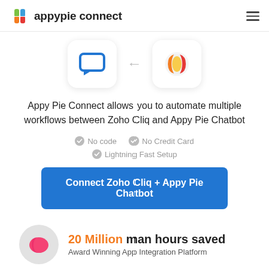appypie connect
[Figure (logo): Zoho Cliq icon (blue chat bubble) and Appy Pie Chatbot icon (colorful circular logo) with a left arrow between them]
Appy Pie Connect allows you to automate multiple workflows between Zoho Cliq and Appy Pie Chatbot
No code
No Credit Card
Lightning Fast Setup
Connect Zoho Cliq + Appy Pie Chatbot
20 Million man hours saved
Award Winning App Integration Platform